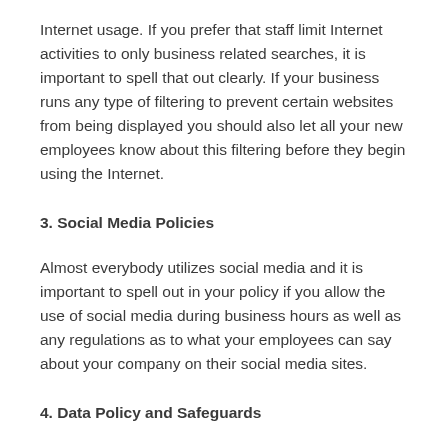Internet usage. If you prefer that staff limit Internet activities to only business related searches, it is important to spell that out clearly. If your business runs any type of filtering to prevent certain websites from being displayed you should also let all your new employees know about this filtering before they begin using the Internet.
3. Social Media Policies
Almost everybody utilizes social media and it is important to spell out in your policy if you allow the use of social media during business hours as well as any regulations as to what your employees can say about your company on their social media sites.
4. Data Policy and Safeguards